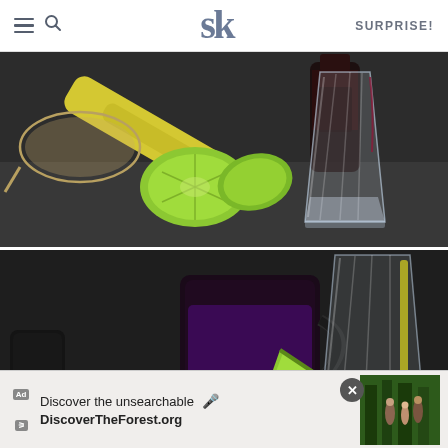SK — SURPRISE!
[Figure (photo): Dark background food photography showing lime halves, a yellow citrus squeezer, a glass being filled with clear liquid, and a dark bottle of purple/red liquid in the background.]
[Figure (photo): Dark background food photography showing a glass mug with purple/dark liquid, a lime wedge, and a clear ribbed glass with a yellow straw or lime, partially overlaid by an ad banner.]
[Figure (screenshot): Advertisement banner: 'Discover the unsearchable' / 'DiscoverTheForest.org' with an image of people hiking in a forest on the right, an Ad label, and a close X button.]